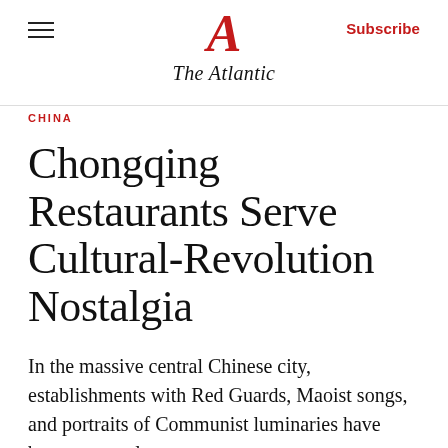The Atlantic — Subscribe
CHINA
Chongqing Restaurants Serve Cultural-Revolution Nostalgia
In the massive central Chinese city, establishments with Red Guards, Maoist songs, and portraits of Communist luminaries have become popular.
By Adam Century